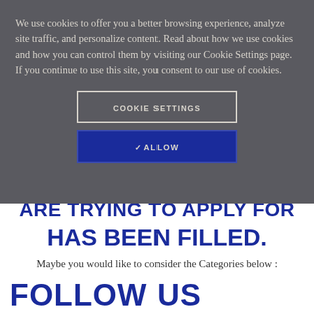We use cookies to offer you a better browsing experience, analyze site traffic, and personalize content. Read about how we use cookies and how you can control them by visiting our Cookie Settings page. If you continue to use this site, you consent to our use of cookies.
[Figure (screenshot): Cookie Settings button - outlined rectangle with text COOKIE SETTINGS]
[Figure (screenshot): Allow button - blue filled rectangle with checkmark and text ALLOW]
ARE TRYING TO APPLY FOR HAS BEEN FILLED.
Maybe you would like to consider the Categories below :
FOLLOW US